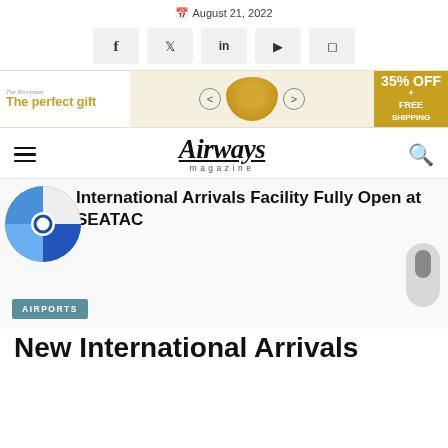August 21, 2022
[Figure (other): Social media share buttons: Facebook, Twitter, LinkedIn, YouTube, Instagram]
[Figure (other): Advertisement banner: The perfect gift - 35% OFF + FREE SHIPPING]
Airways magazine
International Arrivals Facility Fully Open at SEATAC
AIRPORTS
New International Arrivals